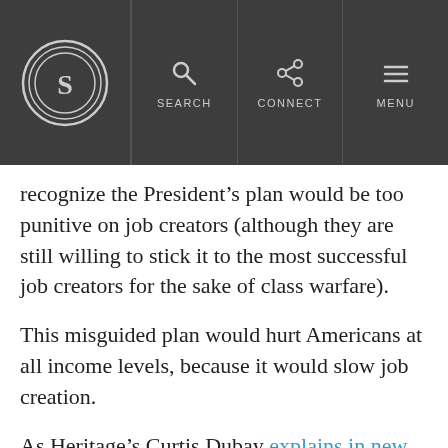S [logo] | SEARCH | CONNECT | MENU
recognize the President’s plan would be too punitive on job creators (although they are still willing to stick it to the most successful job creators for the sake of class warfare).
This misguided plan would hurt Americans at all income levels, because it would slow job creation.
As Heritage’s Curtis Dubay explains in new research, the President’s tax increase would fall heavily on important job-creating businesses that pay their taxes through the individual income tax, known as flow-through businesses.
There has been considerable debate about whether